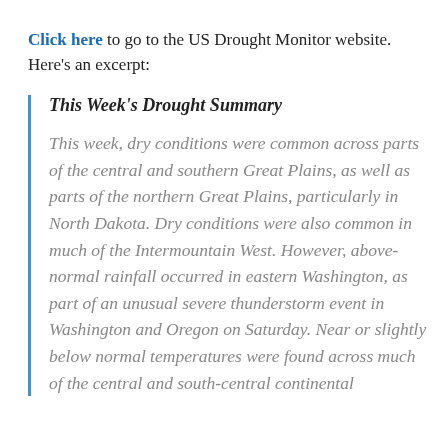Click here to go to the US Drought Monitor website. Here's an excerpt:
This Week's Drought Summary
This week, dry conditions were common across parts of the central and southern Great Plains, as well as parts of the northern Great Plains, particularly in North Dakota. Dry conditions were also common in much of the Intermountain West. However, above-normal rainfall occurred in eastern Washington, as part of an unusual severe thunderstorm event in Washington and Oregon on Saturday. Near or slightly below normal temperatures were found across much of the central and south-central continental